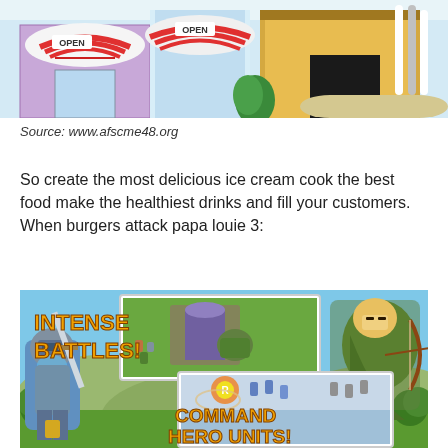[Figure (screenshot): Top portion of a colorful game screenshot showing cartoon buildings including a shop with a red and white striped awning with OPEN sign and a tropical-themed store with OPEN sign and yellow wooden building with surfboards]
Source: www.afscme48.org
So create the most delicious ice cream cook the best food make the healthiest drinks and fill your customers. When burgers attack papa louie 3:
[Figure (screenshot): Game promotional screenshot showing 'INTENSE BATTLES!' text in orange/yellow with game battle scenes and 'COMMAND HERO UNITS!' text with a knight character on the left and an archer character on the right, showing gameplay screenshots in the middle]